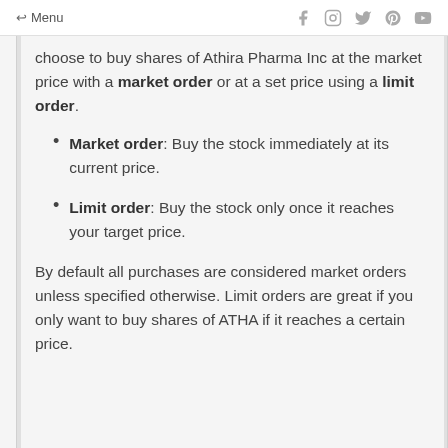← Menu
choose to buy shares of Athira Pharma Inc at the market price with a market order or at a set price using a limit order.
Market order: Buy the stock immediately at its current price.
Limit order: Buy the stock only once it reaches your target price.
By default all purchases are considered market orders unless specified otherwise. Limit orders are great if you only want to buy shares of ATHA if it reaches a certain price.